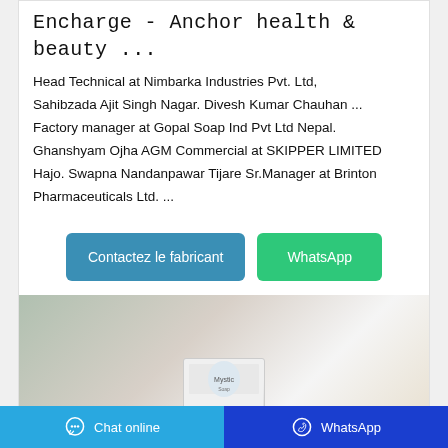Encharge - Anchor health & beauty ...
Head Technical at Nimbarka Industries Pvt. Ltd, Sahibzada Ajit Singh Nagar. Divesh Kumar Chauhan ... Factory manager at Gopal Soap Ind Pvt Ltd Nepal. Ghanshyam Ojha AGM Commercial at SKIPPER LIMITED Hajo. Swapna Nandanpawar Tijare Sr.Manager at Brinton Pharmaceuticals Ltd. ...
[Figure (other): Two buttons: 'Contactez le fabricant' (teal/blue) and 'WhatsApp' (green)]
[Figure (photo): Photo of a white fluffy towel with a soap product card visible]
Chat online   WhatsApp